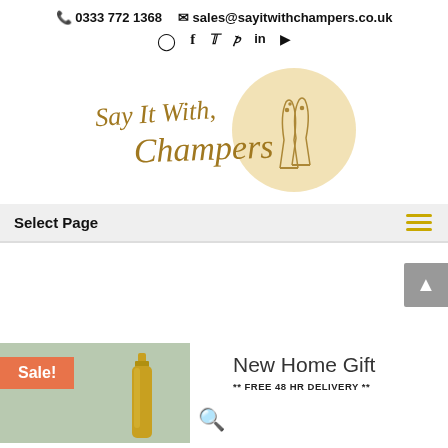📞 0333 772 1368   ✉ sales@sayitwithchampers.co.uk
[Figure (logo): Say It With Champers logo — cursive gold text with champagne glasses in a gold circle]
Select Page
New Home Gift
** FREE 48 HR DELIVERY **